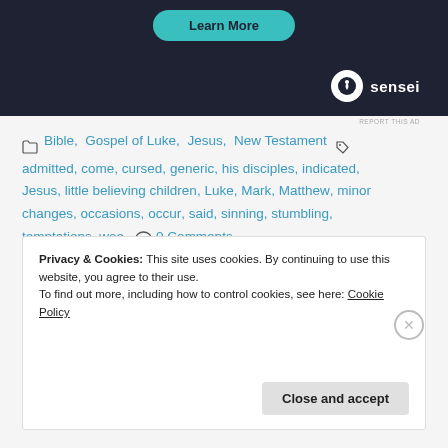[Figure (screenshot): Dark navy ad banner with teal 'Learn More' button and Sensei logo (tree icon with brand name) in white]
REPORT THIS AD
Bible, Gospel of Luke, Jesus, New Testament
admitted, come, cursed, generic, his disciples, indicated, Jesus, little believing children, Luke, Mark, Matthew, minor changes, occasions, occur, said, sinning, stumbling, temptations, woe
0 Comments
Privacy & Cookies: This site uses cookies. By continuing to use this website, you agree to their use.
To find out more, including how to control cookies, see here: Cookie Policy